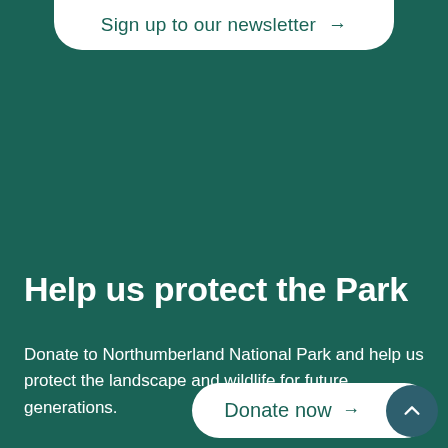Sign up to our newsletter →
Help us protect the Park
Donate to Northumberland National Park and help us protect the landscape and wildlife for future generations.
Donate now →